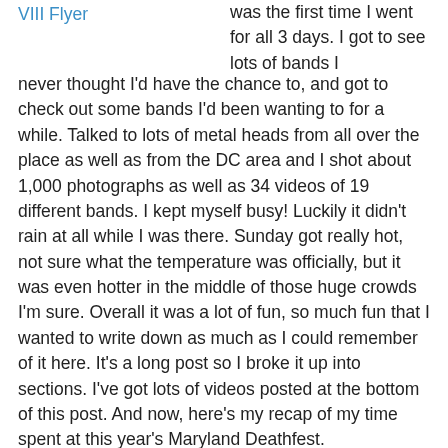VIII Flyer
was the first time I went for all 3 days. I got to see lots of bands I never thought I'd have the chance to, and got to check out some bands I'd been wanting to for a while. Talked to lots of metal heads from all over the place as well as from the DC area and I shot about 1,000 photographs as well as 34 videos of 19 different bands. I kept myself busy! Luckily it didn't rain at all while I was there. Sunday got really hot, not sure what the temperature was officially, but it was even hotter in the middle of those huge crowds I'm sure. Overall it was a lot of fun, so much fun that I wanted to write down as much as I could remember of it here. It's a long post so I broke it up into sections. I've got lots of videos posted at the bottom of this post. And now, here's my recap of my time spent at this year's Maryland Deathfest.